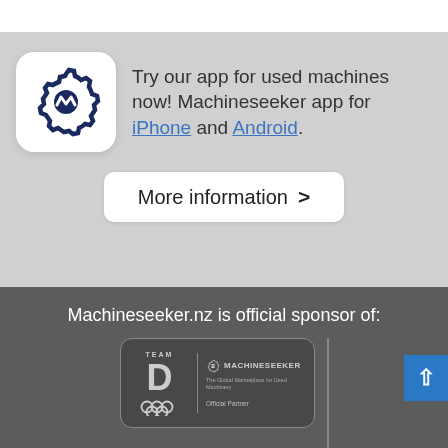[Figure (screenshot): App promotion section with Machineseeker app icon (gear/wave logo on white rounded square), text about app availability for iPhone and Android, and a 'More information >' button. Below is a dark gray sponsor section with text 'Machineseeker.nz is official sponsor of:' and Team D / Machineseeker official partner badge, vertical divider, scroll-to-top button, and partial bottom logos including Business Club, SV, 1.FC, SC Paderborn.]